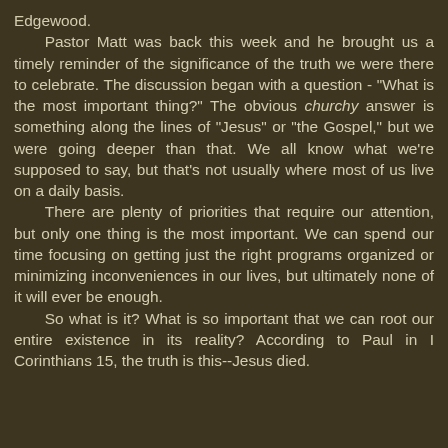Edgewood.
	Pastor Matt was back this week and he brought us a timely reminder of the significance of the truth we were there to celebrate.  The discussion began with a question - "What is the most important thing?"  The obvious churchy answer is something along the lines of "Jesus" or "the Gospel," but we were going deeper than that.  We all know what we're supposed to say, but that's not usually where most of us live on a daily basis.
	There are plenty of priorities that require our attention, but only one thing is the most important.  We can spend our time focusing on getting just the right programs organized or minimizing inconveniences in our lives, but ultimately none of it will ever be enough.
	So what is it?  What is so important that we can root our entire existence in its reality?  According to Paul in I Corinthians 15, the truth is this--Jesus died.